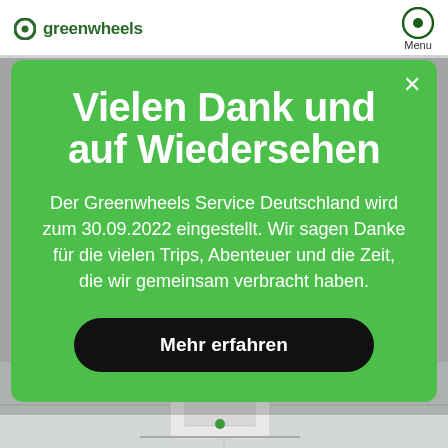greenwheels   Menu
Vielen Dank und auf Wiedersehen
Der Greenwheels Service Deutschland wird zum 30.09.2022 eingestellt. Wir sagen Danke für die vielen Trips, Abenteuer und die Zeit, die wir gemeinsam verbracht haben.
Mehr erfahren
[Figure (screenshot): Map view visible at the bottom of the page behind the modal dialog]